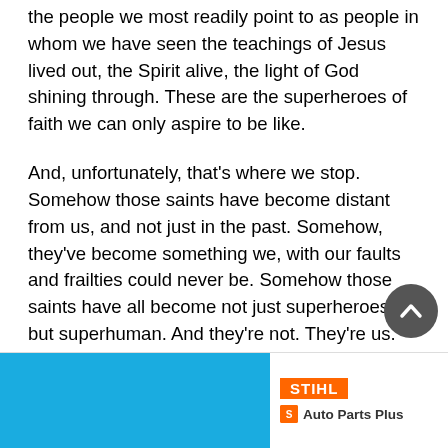the people we most readily point to as people in whom we have seen the teachings of Jesus lived out, the Spirit alive, the light of God shining through. These are the superheroes of faith we can only aspire to be like.
And, unfortunately, that's where we stop. Somehow those saints have become distant from us, and not just in the past. Somehow, they've become something we, with our faults and frailties could never be. Somehow those saints have all become not just superheroes, but superhuman. And they're not. They're us. Really.
Jesus didn't choose twelve perfect examples of his teaching. He chose twelve ordinary, everyday people who learned and experienced something special and, dee...
[Figure (other): Advertisement banner with blue rectangle on left and STIHL / Auto Parts Plus logo on right]